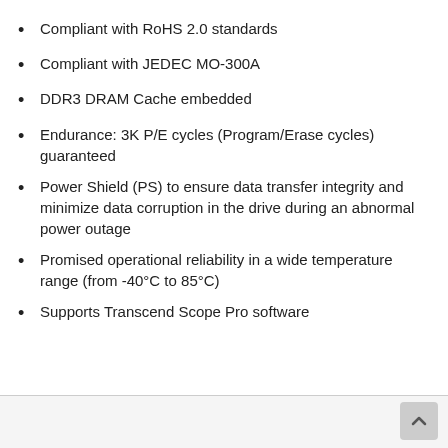Compliant with RoHS 2.0 standards
Compliant with JEDEC MO-300A
DDR3 DRAM Cache embedded
Endurance: 3K P/E cycles (Program/Erase cycles) guaranteed
Power Shield (PS) to ensure data transfer integrity and minimize data corruption in the drive during an abnormal power outage
Promised operational reliability in a wide temperature range (from -40°C to 85°C)
Supports Transcend Scope Pro software